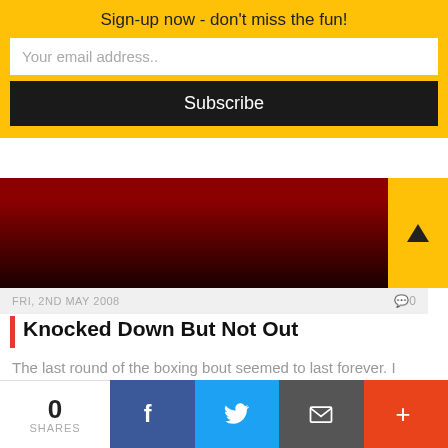Sign-up now - don't miss the fun!
Your email address..
Subscribe
[Figure (photo): Dark boxing image with reddish tones]
FRI, 2ND MAY 2008
Knocked Down But Not Out
The last round of the boxing bout seemed to last forever. I thought it would...
[Figure (infographic): Social share icons: Facebook, Twitter, Email, Pinterest, More]
MARRIAGE & DIVORCE
0 SHARES